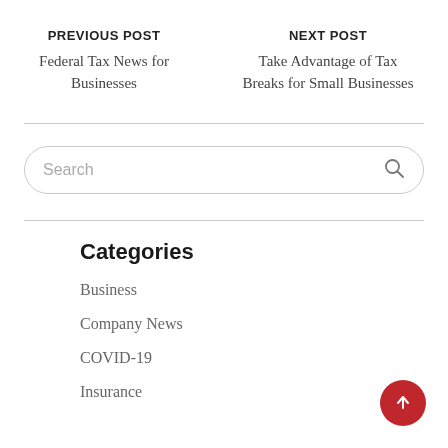PREVIOUS POST
Federal Tax News for Businesses
NEXT POST
Take Advantage of Tax Breaks for Small Businesses
[Figure (other): Search bar with placeholder text 'Search' and a magnifying glass icon]
Categories
Business
Company News
COVID-19
Insurance